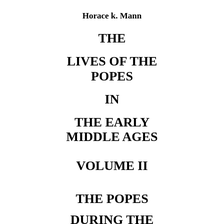Horace k. Mann
THE

LIVES OF THE POPES

IN

THE EARLY MIDDLE AGES
VOLUME II
THE POPES

DURING THE